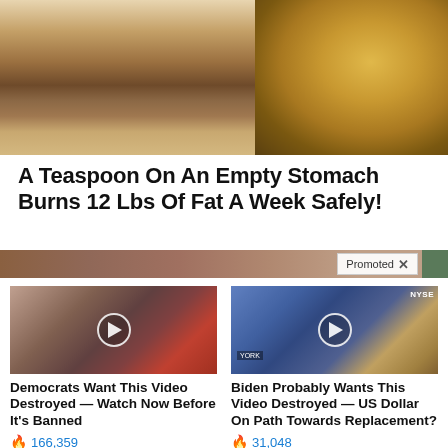[Figure (photo): Split image: left half shows a woman's torso in shorts outdoors; right half shows ground spice/powder in a wooden spoon]
A Teaspoon On An Empty Stomach Burns 12 Lbs Of Fat A Week Safely!
[Figure (photo): Promoted banner showing close-up of eyes, with a 'Promoted X' label overlay]
[Figure (photo): Video thumbnail showing two people (resembling Melania and Donald Trump) with a play button overlay]
Democrats Want This Video Destroyed — Watch Now Before It's Banned
🔥 166,359
[Figure (photo): Video thumbnail showing two people on a news set (NYSE background) with a play button overlay]
Biden Probably Wants This Video Destroyed — US Dollar On Path Towards Replacement?
🔥 31,048